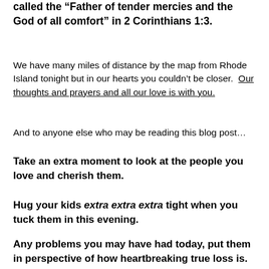called the “Father of tender mercies and the God of all comfort” in 2 Corinthians 1:3.
We have many miles of distance by the map from Rhode Island tonight but in our hearts you couldn’t be closer.  Our thoughts and prayers and all our love is with you.
And to anyone else who may be reading this blog post…
Take an extra moment to look at the people you love and cherish them.
Hug your kids extra extra extra tight when you tuck them in this evening.
Any problems you may have had today, put them in perspective of how heartbreaking true loss is.